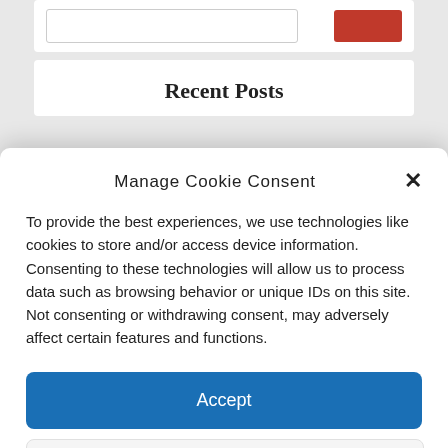Recent Posts
Manage Cookie Consent
To provide the best experiences, we use technologies like cookies to store and/or access device information. Consenting to these technologies will allow us to process data such as browsing behavior or unique IDs on this site. Not consenting or withdrawing consent, may adversely affect certain features and functions.
Accept
Deny
View preferences
Privacy Statement